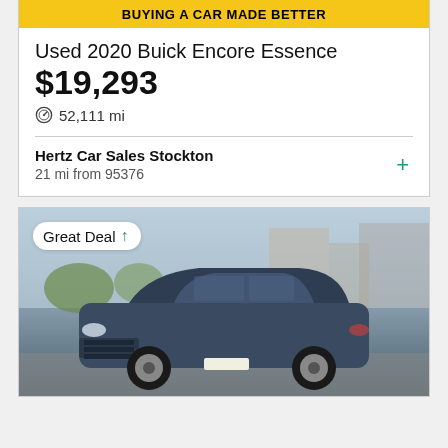[Figure (photo): Yellow banner at top of car listing card reading BUYING A CAR MADE BETTER]
Used 2020 Buick Encore Essence
$19,293
52,111 mi
Hertz Car Sales Stockton
21 mi from 95376
[Figure (photo): Photo of a dark blue/gray Cadillac XT5 SUV parked in a dealership lot with trees and buildings in background. A Great Deal badge with green upward arrow is overlaid in the top left.]